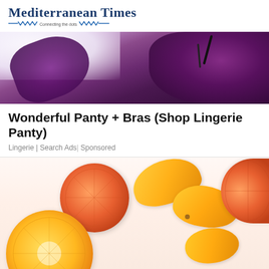Mediterranean Times — Connecting the dots
[Figure (photo): Purple lace lingerie bra on white fabric background]
Wonderful Panty + Bras (Shop Lingerie Panty)
Lingerie | Search Ads | Sponsored
[Figure (photo): Sliced oranges, grapefruits and yellow mangoes on white background]